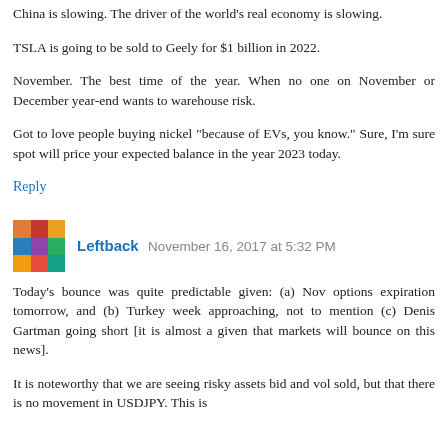China is slowing. The driver of the world's real economy is slowing.
TSLA is going to be sold to Geely for $1 billion in 2022.
November. The best time of the year. When no one on November or December year-end wants to warehouse risk.
Got to love people buying nickel "because of EVs, you know." Sure, I'm sure spot will price your expected balance in the year 2023 today.
Reply
Leftback  November 16, 2017 at 5:32 PM
Today's bounce was quite predictable given: (a) Nov options expiration tomorrow, and (b) Turkey week approaching, not to mention (c) Denis Gartman going short [it is almost a given that markets will bounce on this news].
It is noteworthy that we are seeing risky assets bid and vol sold, but that there is no movement in USDJPY. This is